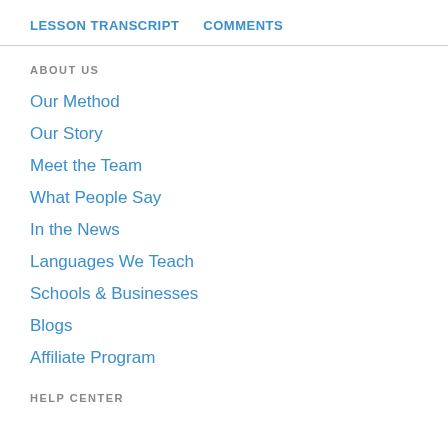LESSON TRANSCRIPT   COMMENTS
ABOUT US
Our Method
Our Story
Meet the Team
What People Say
In the News
Languages We Teach
Schools & Businesses
Blogs
Affiliate Program
HELP CENTER